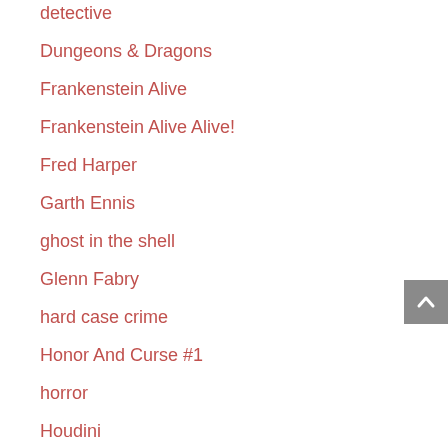detective
Dungeons & Dragons
Frankenstein Alive
Frankenstein Alive Alive!
Fred Harper
Garth Ennis
ghost in the shell
Glenn Fabry
hard case crime
Honor And Curse #1
horror
Houdini
HP Lovecraft